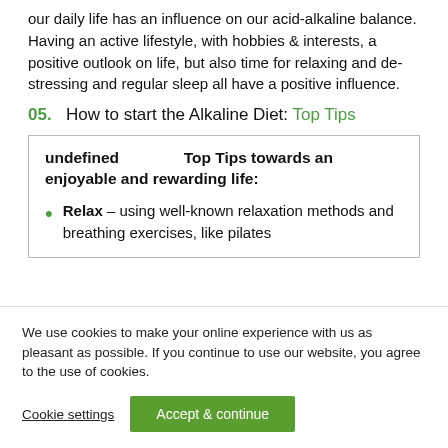our daily life has an influence on our acid-alkaline balance. Having an active lifestyle, with hobbies & interests, a positive outlook on life, but also time for relaxing and de-stressing and regular sleep all have a positive influence.
05. How to start the Alkaline Diet: Top Tips
undefined   Top Tips towards an enjoyable and rewarding life:
Relax – using well-known relaxation methods and breathing exercises, like pilates
We use cookies to make your online experience with us as pleasant as possible. If you continue to use our website, you agree to the use of cookies.
Cookie settings   Accept & continue